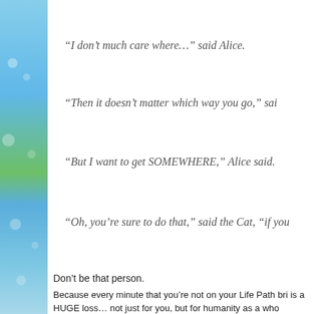“I don’t much care where…” said Alice.
“Then it doesn’t matter which way you go,” sai
“But I want to get SOMEWHERE,” Alice said.
“Oh, you’re sure to do that,” said the Cat, “if you
Don’t be that person.
Because every minute that you’re not on your Life Path bri is a HUGE loss… not just for you, but for humanity as a who
Make 2017 Best Year of Life